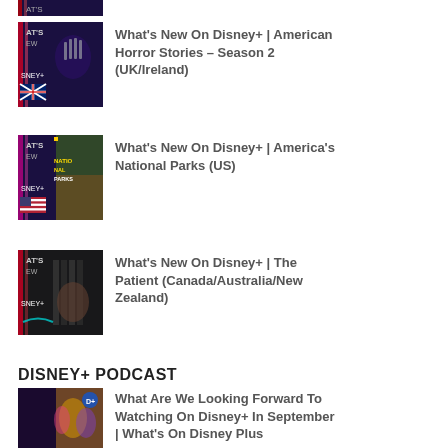[Figure (photo): Partial thumbnail of a Disney+ content item (top, partially cropped)]
What's New On Disney+ | American Horror Stories – Season 2 (UK/Ireland)
What's New On Disney+ | America's National Parks (US)
What's New On Disney+ | The Patient (Canada/Australia/New Zealand)
DISNEY+ PODCAST
What Are We Looking Forward To Watching On Disney+ In September | What's On Disney Plus